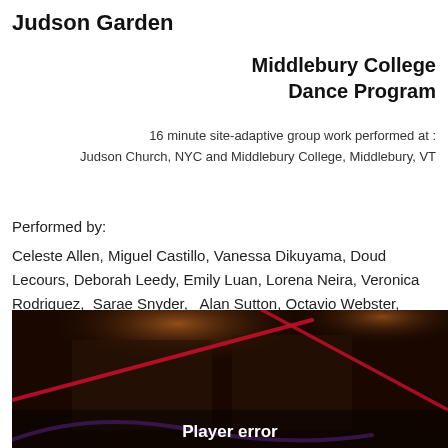Judson Garden
Middlebury College Dance Program
16 minute site-adaptive group work performed at : Judson Church, NYC and Middlebury College, Middlebury, VT
Performed by:
Celeste Allen, Miguel Castillo, Vanessa Dikuyama, Doud Lecours, Deborah Leedy, Emily Luan, Lorena Neira, Veronica Rodriguez,  Sarae Snyder,   Alan Sutton, Octavio Webster, Meredith White
[Figure (screenshot): Dark video still from Judson Garden performance showing a dim interior space with red/purple rope or fabric suspended. A 'Player error' overlay text is displayed at the bottom center.]